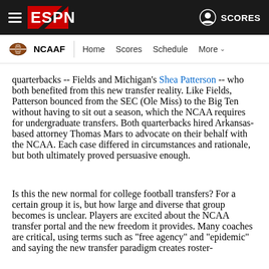ESPN NCAAF navigation — Home, Scores, Schedule, More
quarterbacks -- Fields and Michigan's Shea Patterson -- who both benefited from this new transfer reality. Like Fields, Patterson bounced from the SEC (Ole Miss) to the Big Ten without having to sit out a season, which the NCAA requires for undergraduate transfers. Both quarterbacks hired Arkansas-based attorney Thomas Mars to advocate on their behalf with the NCAA. Each case differed in circumstances and rationale, but both ultimately proved persuasive enough.
Is this the new normal for college football transfers? For a certain group it is, but how large and diverse that group becomes is unclear. Players are excited about the NCAA transfer portal and the new freedom it provides. Many coaches are critical, using terms such as "free agency" and "epidemic" and saying the new transfer paradigm creates roster-